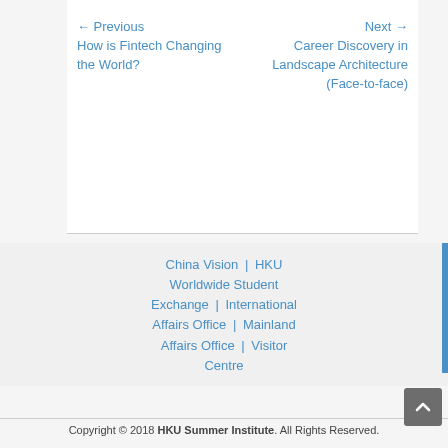← Previous How is Fintech Changing the World?
Next → Career Discovery in Landscape Architecture (Face-to-face)
China Vision | HKU Worldwide Student Exchange | International Affairs Office | Mainland Affairs Office | Visitor Centre
Copyright © 2018 HKU Summer Institute. All Rights Reserved.